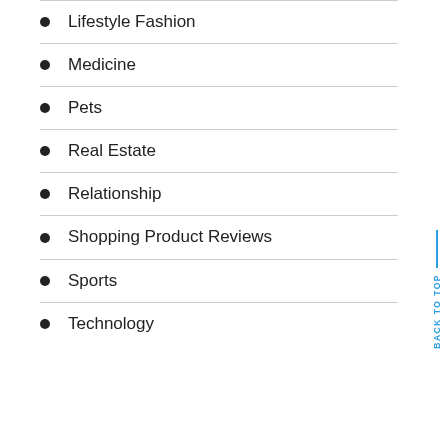Lifestyle Fashion
Medicine
Pets
Real Estate
Relationship
Shopping Product Reviews
Sports
Technology